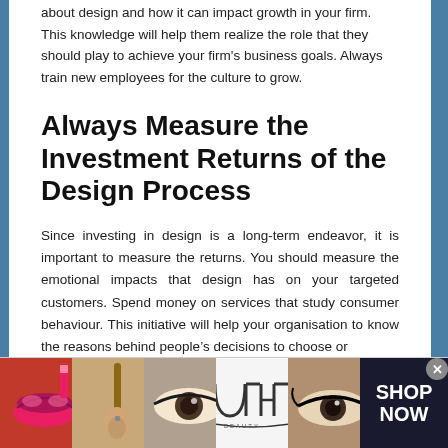about design and how it can impact growth in your firm. This knowledge will help them realize the role that they should play to achieve your firm's business goals. Always train new employees for the culture to grow.
Always Measure the Investment Returns of the Design Process
Since investing in design is a long-term endeavor, it is important to measure the returns. You should measure the emotional impacts that design has on your targeted customers. Spend money on services that study consumer behaviour. This initiative will help your organisation to know the reasons behind people's decisions to choose or
[Figure (photo): Advertisement banner showing makeup-related photos (lips with lipstick, makeup brush, eye with makeup, ULTA Beauty logo, eye with dramatic makeup) alongside a dark blue 'SHOP NOW' button.]